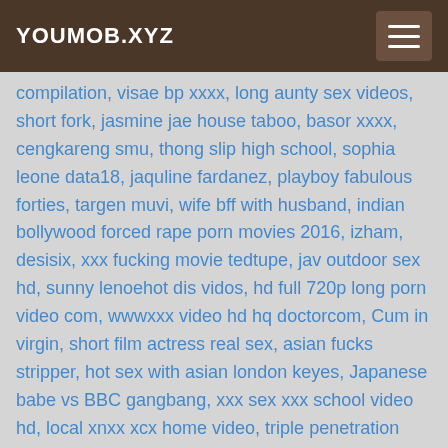YOUMOB.XYZ
compilation, visae bp xxxx, long aunty sex videos, short fork, jasmine jae house taboo, basor xxxx, cengkareng smu, thong slip high school, sophia leone data18, jaquline fardanez, playboy fabulous forties, targen muvi, wife bff with husband, indian bollywood forced rape porn movies 2016, izham, desisix, xxx fucking movie tedtupe, jav outdoor sex hd, sunny lenoehot dis vidos, hd full 720p long porn video com, wwwxxx video hd hq doctorcom, Cum in virgin, short film actress real sex, asian fucks stripper, hot sex with asian london keyes, Japanese babe vs BBC gangbang, xxx sex xxx school video hd, local xnxx xcx home video, triple penetration fucke anal, alex faw sex, thick bbw anal, duel, guera espiada, delicious alessandra marques in hard dp, oppies, orced double pemttation, good boob sucking, www big sexy video com site youtube com, bbabi nud, justine jarod, shione cooper bound tits,